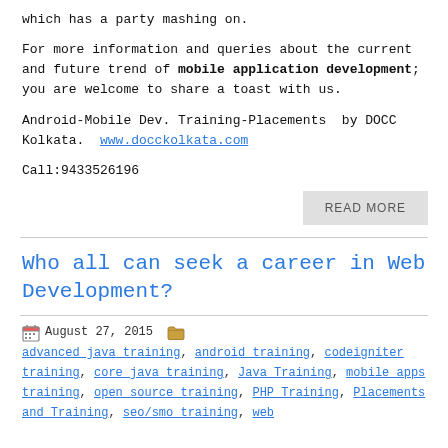which has a party mashing on.
For more information and queries about the current and future trend of mobile application development; you are welcome to share a toast with us.
Android-Mobile Dev. Training-Placements  by DOCC Kolkata.  www.docckolkata.com
Call:9433526196
READ MORE
Who all can seek a career in Web Development?
August 27, 2015  advanced java training, android training, codeigniter training, core java training, Java Training, mobile apps training, open source training, PHP Training, Placements and Training, seo/smo training, web